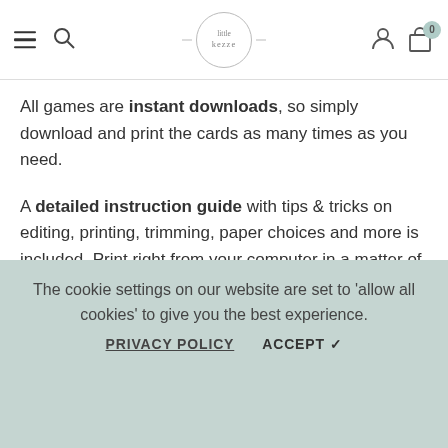Navigation header with hamburger menu, search icon, Little Kezze logo, user icon, and cart (0)
All games are instant downloads, so simply download and print the cards as many times as you need.
A detailed instruction guide with tips & tricks on editing, printing, trimming, paper choices and more is included. Print right from your computer in a matter of minutes or have the games printed at your favorite print shop.
Not sure if an editable PDF template is right for you? Try it out first and decide if you're up for it! Download our sample template.
This listing includes multiple items. For the games printed at your favorite, each a little...
The cookie settings on our website are set to 'allow all cookies' to give you the best experience.
PRIVACY POLICY   ACCEPT ✔